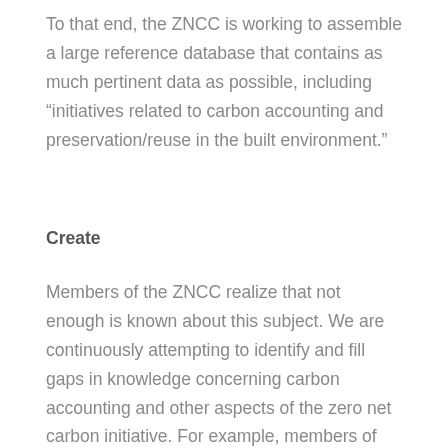To that end, the ZNCC is working to assemble a large reference database that contains as much pertinent data as possible, including “initiatives related to carbon accounting and preservation/reuse in the built environment.”
Create
Members of the ZNCC realize that not enough is known about this subject. We are continuously attempting to identify and fill gaps in knowledge concerning carbon accounting and other aspects of the zero net carbon initiative. For example, members of our group are actively refining a new tool called “2Build or Not 2Build” which is a